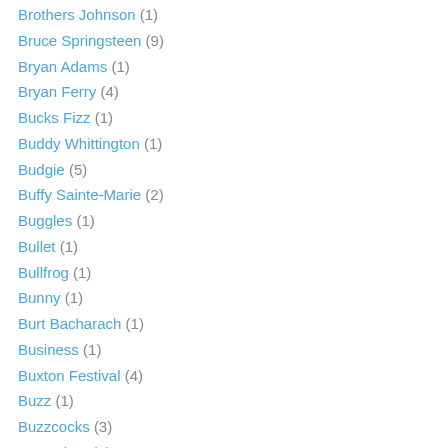Brothers Johnson (1)
Bruce Springsteen (9)
Bryan Adams (1)
Bryan Ferry (4)
Bucks Fizz (1)
Buddy Whittington (1)
Budgie (5)
Buffy Sainte-Marie (2)
Buggles (1)
Bullet (1)
Bullfrog (1)
Bunny (1)
Burt Bacharach (1)
Business (1)
Buxton Festival (4)
Buzz (1)
Buzzcocks (3)
Byzantium (3)
Cambridge Folk Festival (1)
Camel (6)